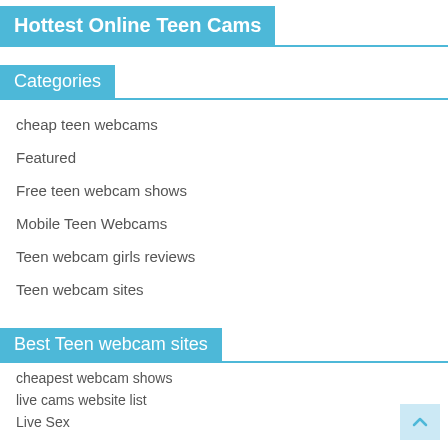Hottest Online Teen Cams
Categories
cheap teen webcams
Featured
Free teen webcam shows
Mobile Teen Webcams
Teen webcam girls reviews
Teen webcam sites
Best Teen webcam sites
cheapest webcam shows
live cams website list
Live Sex